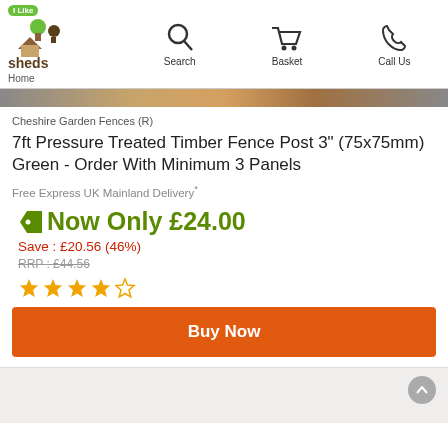I Like Sheds — Home | Search | Basket | Call Us
[Figure (photo): Brown wooden fence post product image strip at top]
Cheshire Garden Fences (R)
7ft Pressure Treated Timber Fence Post 3" (75x75mm) Green - Order With Minimum 3 Panels
Free Express UK Mainland Delivery*
Now Only £24.00
Save : £20.56 (46%)
RRP : £44.56
[Figure (other): 4 out of 5 stars rating]
Buy Now
[Figure (photo): Partial view of fence post at bottom of page]